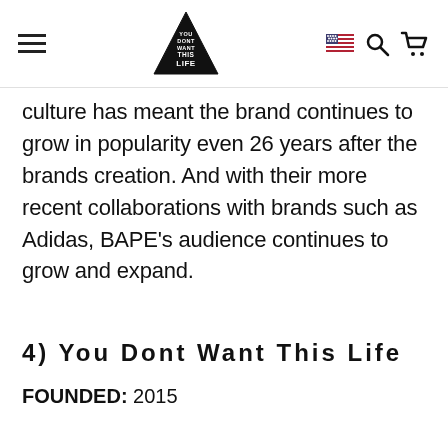You Dont Want This Life — navigation header with hamburger menu, logo, flag, search, and cart icons
culture has meant the brand continues to grow in popularity even 26 years after the brands creation. And with their more recent collaborations with brands such as Adidas, BAPE's audience continues to grow and expand.
4) You Dont Want This Life
FOUNDED: 2015